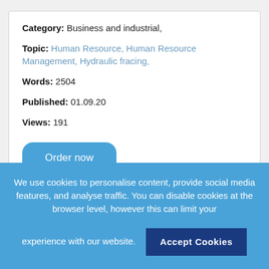Category: Business and industrial,
Topic: Human Resource, Human Resource Management, Hydraulic fracing,
Words: 2504
Published: 01.09.20
Views: 191
Order now
Category:
We use cookies to personalise content, provide social media features, and analyse traffic. You can disable cookies at the browser level, however this can limit your experience with our website.
Accept Cookies